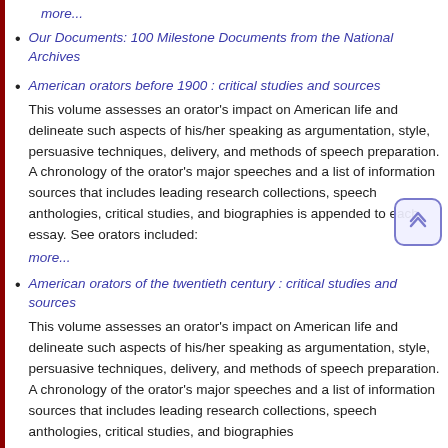more...
Our Documents: 100 Milestone Documents from the National Archives
American orators before 1900 : critical studies and sources
This volume assesses an orator's impact on American life and delineate such aspects of his/her speaking as argumentation, style, persuasive techniques, delivery, and methods of speech preparation. A chronology of the orator's major speeches and a list of information sources that includes leading research collections, speech anthologies, critical studies, and biographies is appended to each essay. See orators included:
more...
American orators of the twentieth century : critical studies and sources
This volume assesses an orator's impact on American life and delineate such aspects of his/her speaking as argumentation, style, persuasive techniques, delivery, and methods of speech preparation. A chronology of the orator's major speeches and a list of information sources that includes leading research collections, speech anthologies, critical studies, and biographies